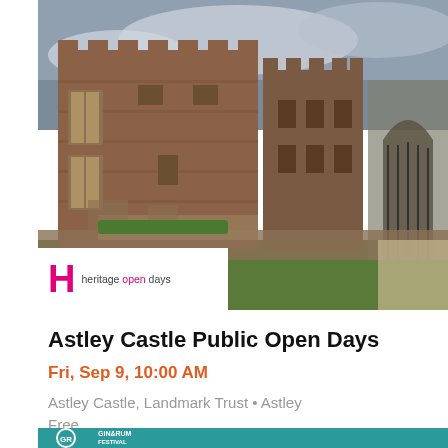[Figure (photo): Photograph of Astley Castle, a red brick/stone castle building with battlements, arched gateway, and surrounding ruins, under a cloudy sky. Heritage Open Days logo overlaid at bottom left.]
Astley Castle Public Open Days
Fri, Sep 9, 10:00 AM
Astley Castle, Landmark Trust • Astley
Free
[Figure (photo): Bottom banner showing Gin & Rum Festival logo on teal background with people in background.]